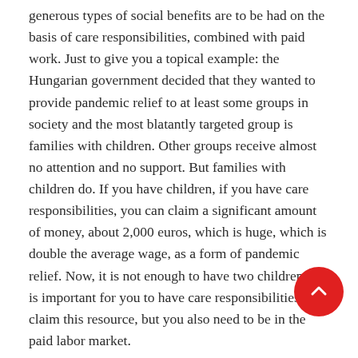generous types of social benefits are to be had on the basis of care responsibilities, combined with paid work. Just to give you a topical example: the Hungarian government decided that they wanted to provide pandemic relief to at least some groups in society and the most blatantly targeted group is families with children. Other groups receive almost no attention and no support. But families with children do. If you have children, if you have care responsibilities, you can claim a significant amount of money, about 2,000 euros, which is huge, which is double the average wage, as a form of pandemic relief. Now, it is not enough to have two children. It is important for you to have care responsibilities to claim this resource, but you also need to be in the paid labor market.
You can claim this based on caring for children, as long as you are also in the labor market, and you can claim it depending on how many children you care for. Most of the other benefits are related to that, but also how well you are doing…